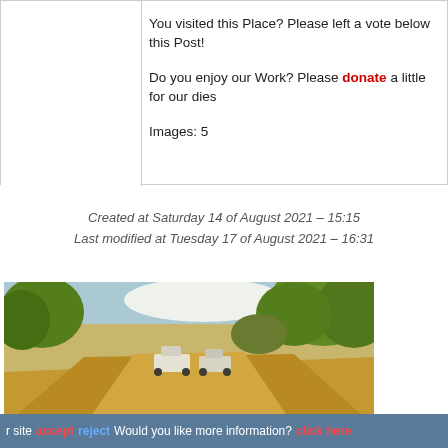You visited this Place? Please left a vote below this Post!
Do you enjoy our Work? Please donate a little for our dies
Images: 5
Created at Saturday 14 of August 2021 – 15:15
Last modified at Tuesday 17 of August 2021 – 16:31
[Figure (photo): Outdoor dirt road/parking area with cars and trees, summer landscape]
Parking at Rio Órbigo – 721m – Calle Fragua 21 – 49693
Vecilla de la Polvorosa – Zamora – Spain – August 2021
r site  accept  reject  Would you like more information?  click here